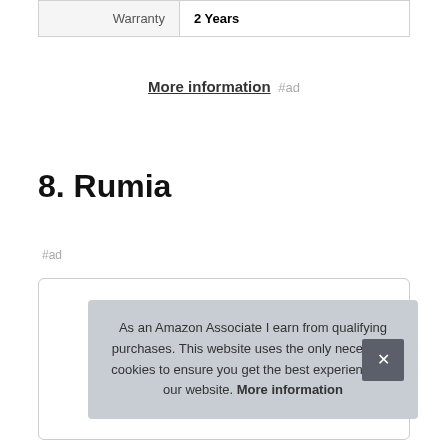| Warranty | 2 Years |
More information #ad
8. Rumia
#ad
As an Amazon Associate I earn from qualifying purchases. This website uses the only necessary cookies to ensure you get the best experience on our website. More information ×